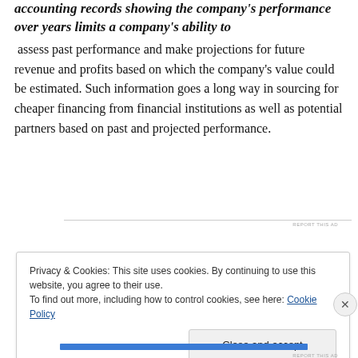accounting records showing the company's performance over years limits a company's ability to assess past performance and make projections for future revenue and profits based on which the company's value could be estimated. Such information goes a long way in sourcing for cheaper financing from financial institutions as well as potential partners based on past and projected performance.
REPORT THIS AD
Privacy & Cookies: This site uses cookies. By continuing to use this website, you agree to their use.
To find out more, including how to control cookies, see here: Cookie Policy
Close and accept